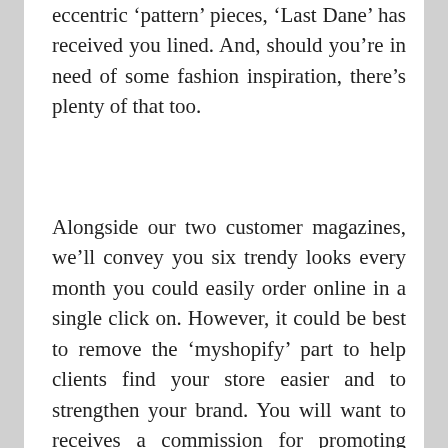eccentric 'pattern' pieces, 'Last Dane' has received you lined. And, should you're in need of some fashion inspiration, there's plenty of that too.
Alongside our two customer magazines, we'll convey you six trendy looks every month you could easily order online in a single click on. However, it could be best to remove the 'myshopify' part to help clients find your store easier and to strengthen your brand. You will want to receives a commission for promoting your merchandise so you will want to enter the address of your small business as welling as choosing your country for forex and tax rates. If you sell clothes items you can make your own 'Fit Guide' like Closed did. It can